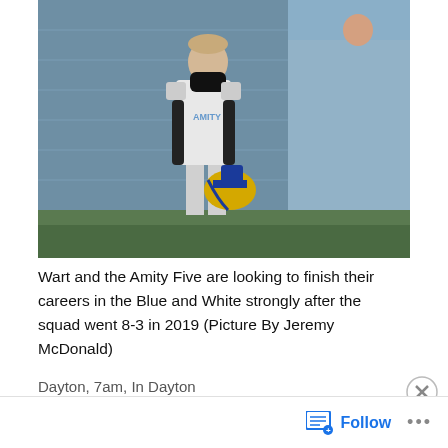[Figure (photo): A youth football player in white jersey and black compression sleeves, wearing a black face covering, holding a helmet with blue and gold colors, standing on a field in front of a blue metal building background.]
Wart and the Amity Five are looking to finish their careers in the Blue and White strongly after the squad went 8-3 in 2019 (Picture By Jeremy McDonald)
Dayton, 7am, In Dayton